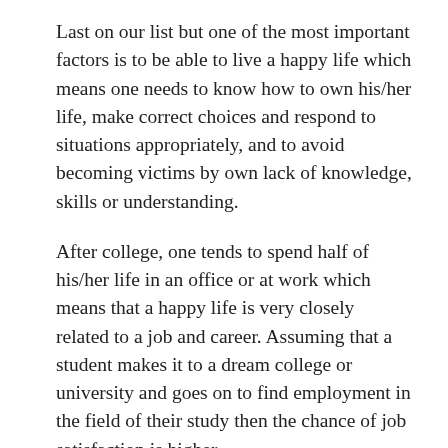Last on our list but one of the most important factors is to be able to live a happy life which means one needs to know how to own his/her life, make correct choices and respond to situations appropriately, and to avoid becoming victims by own lack of knowledge, skills or understanding.
After college, one tends to spend half of his/her life in an office or at work which means that a happy life is very closely related to a job and career. Assuming that a student makes it to a dream college or university and goes on to find employment in the field of their study then the chance of job satisfaction is higher.
13. Not all teachers are born equal.